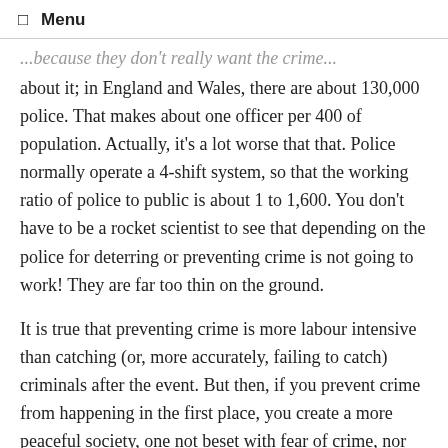☰ Menu
...because they don't really want the crime about it; in England and Wales, there are about 130,000 police. That makes about one officer per 400 of population. Actually, it's a lot worse that that. Police normally operate a 4-shift system, so that the working ratio of police to public is about 1 to 1,600. You don't have to be a rocket scientist to see that depending on the police for deterring or preventing crime is not going to work! They are far too thin on the ground.
It is true that preventing crime is more labour intensive than catching (or, more accurately, failing to catch) criminals after the event. But then, if you prevent crime from happening in the first place, you create a more peaceful society, one not beset with fear of crime, nor